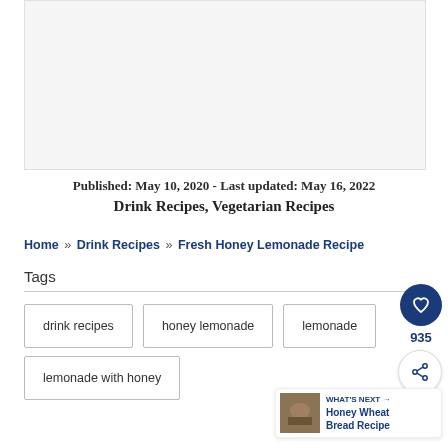[Figure (photo): Image placeholder area, light gray background]
Published: May 10, 2020 - Last updated: May 16, 2022
Drink Recipes, Vegetarian Recipes
Home » Drink Recipes » Fresh Honey Lemonade Recipe
Tags
drink recipes
honey lemonade
lemonade
lemonade with honey
WHAT'S NEXT → Honey Wheat Bread Recipe